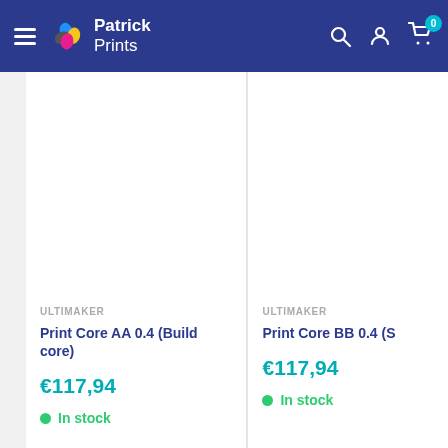Patrick Prints
[Figure (other): Product image area for Print Core AA 0.4 (Build core) - white/empty product photo]
ULTIMAKER
Print Core AA 0.4 (Build core)
€117,94
In stock
[Figure (other): Product image area for Print Core BB 0.4 (S...) - white/empty product photo]
ULTIMAKER
Print Core BB 0.4 (S
€117,94
In stock